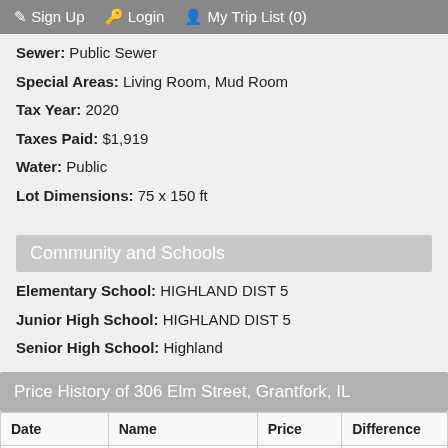Sign Up  Login  My Trip List (0)
Sewer: Public Sewer
Special Areas: Living Room, Mud Room
Tax Year: 2020
Taxes Paid: $1,919
Water: Public
Lot Dimensions: 75 x 150 ft
Community and Schools
Elementary School: HIGHLAND DIST 5
Junior High School: HIGHLAND DIST 5
Senior High School: Highland
Price History of 306 Elm Street, Grantfork, IL
| Date | Name | Price | Difference |
| --- | --- | --- | --- |
| 09/25/2022 | Price Adjustment | $22,500 | 22.00% |